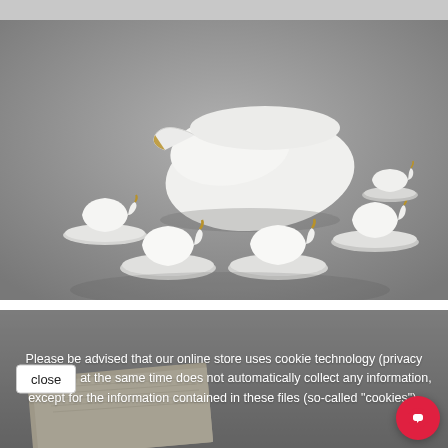[Figure (photo): A top strip of grey background, partial view of a previous product image at the top of the page.]
[Figure (photo): Elegant white porcelain tea/coffee set with gold accents on a grey background. Includes a teapot with a distinctive swooping shape, several cups and saucers arranged in a spread. Modern minimalist design.]
[Figure (photo): Partial view of a book with pages, visible at the bottom of the page behind the cookie notice overlay.]
Please be advised that our online store uses cookie technology (privacy policy) and at the same time does not automatically collect any information, except for the information contained in these files (so-called "cookies").
close